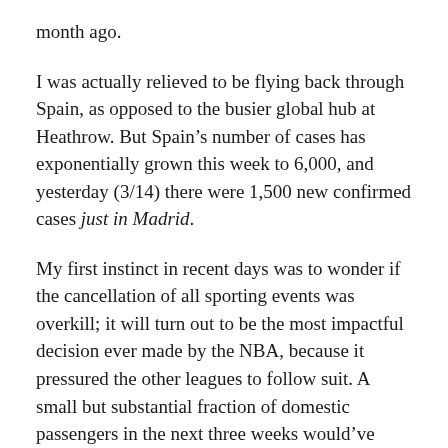month ago.
I was actually relieved to be flying back through Spain, as opposed to the busier global hub at Heathrow. But Spain’s number of cases has exponentially grown this week to 6,000, and yesterday (3/14) there were 1,500 new confirmed cases just in Madrid.
My first instinct in recent days was to wonder if the cancellation of all sporting events was overkill; it will turn out to be the most impactful decision ever made by the NBA, because it pressured the other leagues to follow suit. A small but substantial fraction of domestic passengers in the next three weeks would’ve been bound for NCAA tournament games.  As disgusted as I have been by professional sports in the last three years, the decision to sacrifice huge revenues on short notice